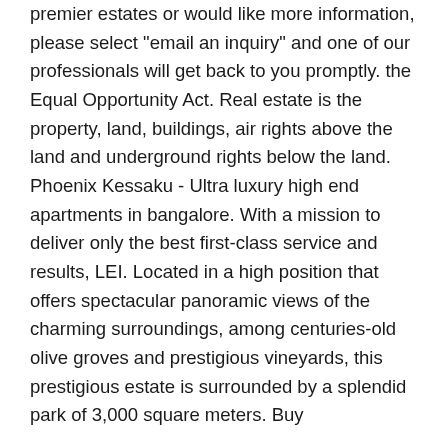premier estates or would like more information, please select "email an inquiry" and one of our professionals will get back to you promptly. the Equal Opportunity Act. Real estate is the property, land, buildings, air rights above the land and underground rights below the land. Phoenix Kessaku - Ultra luxury high end apartments in bangalore. With a mission to deliver only the best first-class service and results, LEI. Located in a high position that offers spectacular panoramic views of the charming surroundings, among centuries-old olive groves and prestigious vineyards, this prestigious estate is surrounded by a splendid park of 3,000 square meters. Buy